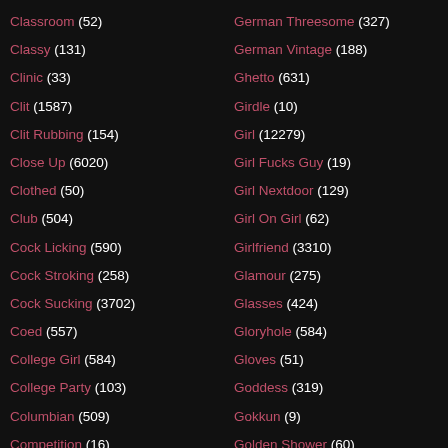Classroom (52)
Classy (131)
Clinic (33)
Clit (1587)
Clit Rubbing (154)
Close Up (6020)
Clothed (50)
Club (504)
Cock Licking (590)
Cock Stroking (258)
Cock Sucking (3702)
Coed (557)
College Girl (584)
College Party (103)
Columbian (509)
Competition (16)
German Threesome (327)
German Vintage (188)
Ghetto (631)
Girdle (10)
Girl (12279)
Girl Fucks Guy (19)
Girl Nextdoor (129)
Girl On Girl (62)
Girlfriend (3310)
Glamour (275)
Glasses (424)
Gloryhole (584)
Gloves (51)
Goddess (319)
Gokkun (9)
Golden Shower (60)